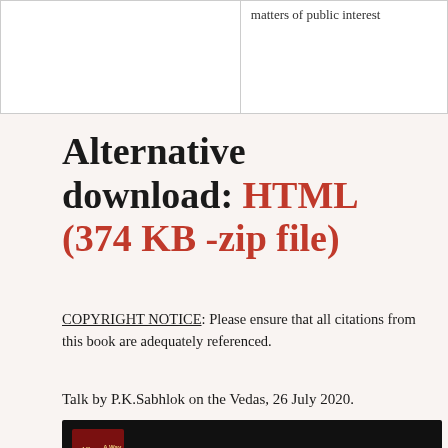|  |  |
| --- | --- |
|  | matters of public interest |
Alternative download: HTML (374 KB -zip file)
COPYRIGHT NOTICE: Please ensure that all citations from this book are adequately referenced.
Talk by P.K.Sabhlok on the Vedas, 26 July 2020.
[Figure (screenshot): Video thumbnail showing 'Talk on What are Vedas, How ...' with a logo and Dr. Vedavyasa Memorial Lecture Series 2020 subtitle]